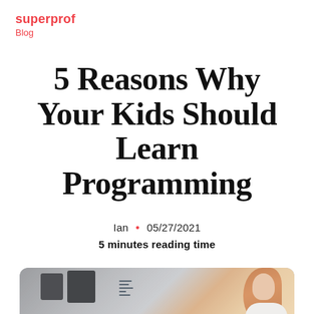superprof
Blog
5 Reasons Why Your Kids Should Learn Programming
Ian · 05/27/2021
5 minutes reading time
[Figure (photo): Young woman with red hair looking at a computer monitor with code on the screen]